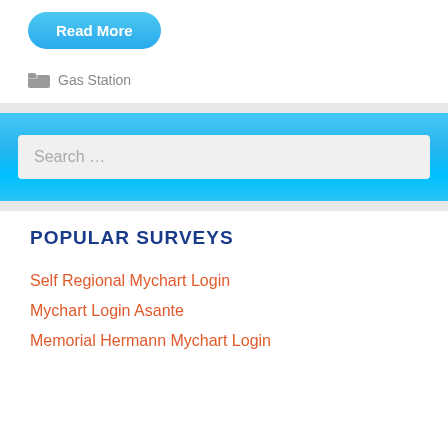[Figure (other): Blue rounded 'Read More' button]
Gas Station
[Figure (other): Search box with placeholder 'Search ...' on a blue gradient background]
POPULAR SURVEYS
Self Regional Mychart Login
Mychart Login Asante
Memorial Hermann Mychart Login